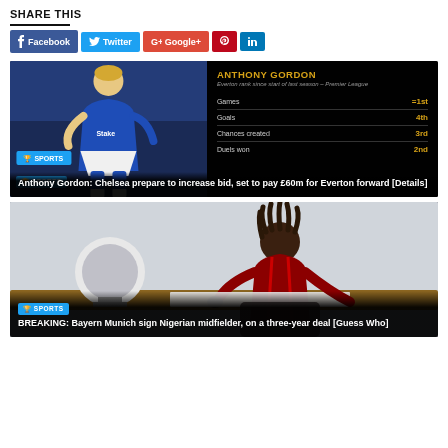SHARE THIS
Facebook
Twitter
Google+
Pinterest
LinkedIn
[Figure (photo): Sports card showing Anthony Gordon in Everton kit with stats overlay: Games =1st, Goals 4th, Chances created 3rd, Duels won 2nd. Subtitle: Everton rank since start of last season - Premier League]
Anthony Gordon: Chelsea prepare to increase bid, set to pay £60m for Everton forward [Details]
[Figure (photo): Photo of a young Nigerian footballer in Bayern Munich training kit signing documents, with Bundesliga trophy visible in background]
BREAKING: Bayern Munich sign Nigerian midfielder, on a three-year deal [Guess Who]